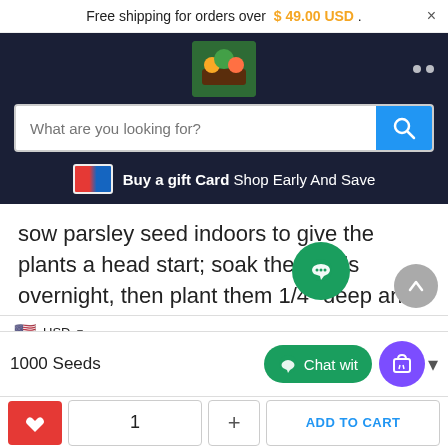Free shipping for orders over $ 49.00 USD .
[Figure (screenshot): E-commerce website navigation with logo, search bar, and gift card banner]
sow parsley seed indoors to give the plants a head start; soak the seeds overnight, then plant them 1/4" deep and keep them at 65-70 degrees F. Because parsley has a notorious habit of slow germination, don't expect to see sprouts for 3-5 weeks. K the soil t. Transplant the seedlin en the door soil temperature reaches 60 degrees F.
1000 Seeds
Chat wit
1
+
ADD TO CART